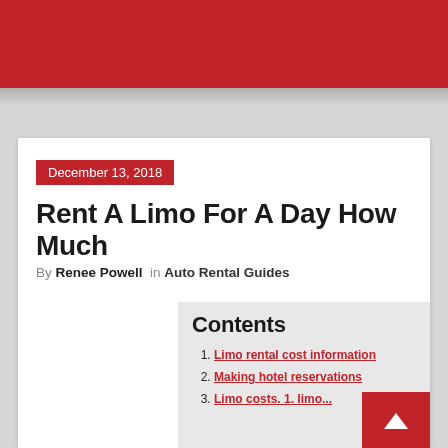December 13, 2018
Rent A Limo For A Day How Much
By Renee Powell in Auto Rental Guides
Contents
1. Limo rental cost information
2. Making hotel reservations
3. Limo costs. 1. limo...